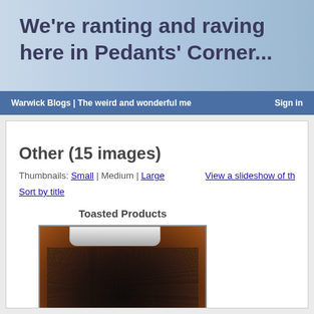We're ranting and raving here in Pedants' Corner...
Warwick Blogs | The weird and wonderful me | Sign in
Other (15 images)
Thumbnails: Small | Medium | Large    View a slideshow of th
Sort by title
Toasted Products
[Figure (photo): Close-up photo of burnt/toasted debris or food with a white device partially visible at the top]